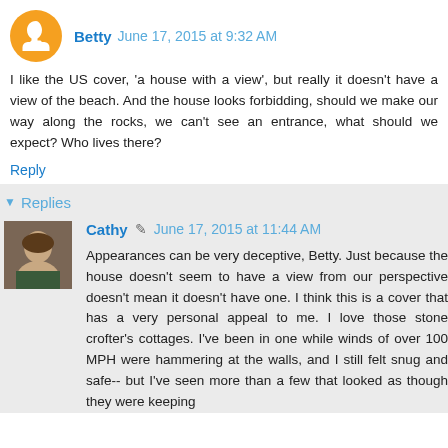Betty   June 17, 2015 at 9:32 AM
I like the US cover, 'a house with a view', but really it doesn't have a view of the beach. And the house looks forbidding, should we make our way along the rocks, we can't see an entrance, what should we expect? Who lives there?
Reply
▼ Replies
Cathy  June 17, 2015 at 11:44 AM
Appearances can be very deceptive, Betty. Just because the house doesn't seem to have a view from our perspective doesn't mean it doesn't have one. I think this is a cover that has a very personal appeal to me. I love those stone crofter's cottages. I've been in one while winds of over 100 MPH were hammering at the walls, and I still felt snug and safe-- but I've seen more than a few that looked as though they were keeping